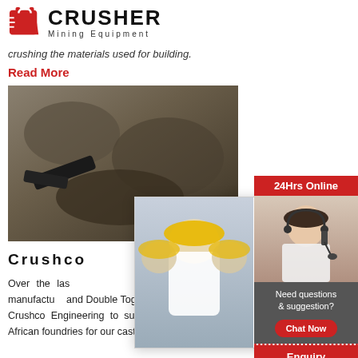[Figure (logo): Crusher Mining Equipment logo with red shopping bag icon and bold text]
crushing the materials used for building.
Read More
[Figure (photo): Mining excavator digging rocky terrain]
Crushco
Over the last... our services to include the design and manufacture and Double Toggle Jaw Crushers, as well as our double roll Coal Crushers. Crushco Engineering to supporting local trade and industry by making best South African foundries for our castings and
Read More
[Figure (photo): Live Chat popup with workers in hard hats, Chat now and Chat later buttons]
[Figure (photo): Sidebar: 24Hrs Online banner, customer service agent with headset]
Need questions & suggestion?
Chat Now
Enquiry
limingjlmofen@sina.com